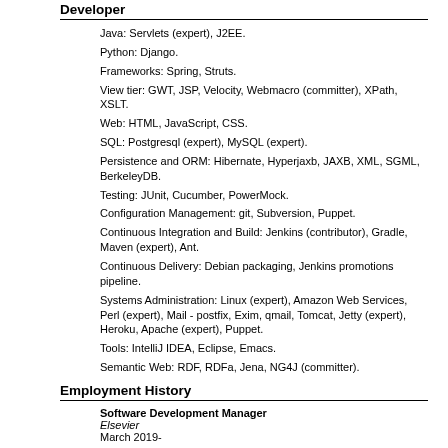Developer
Java: Servlets (expert), J2EE.
Python: Django.
Frameworks: Spring, Struts.
View tier: GWT, JSP, Velocity, Webmacro (committer), XPath, XSLT.
Web: HTML, JavaScript, CSS.
SQL: Postgresql (expert), MySQL (expert).
Persistence and ORM: Hibernate, Hyperjaxb, JAXB, XML, SGML, BerkeleyDB.
Testing: JUnit, Cucumber, PowerMock.
Configuration Management: git, Subversion, Puppet.
Continuous Integration and Build: Jenkins (contributor), Gradle, Maven (expert), Ant.
Continuous Delivery: Debian packaging, Jenkins promotions pipeline.
Systems Administration: Linux (expert), Amazon Web Services, Perl (expert), Mail - postfix, Exim, qmail, Tomcat, Jetty (expert), Heroku, Apache (expert), Puppet.
Tools: IntelliJ IDEA, Eclipse, Emacs.
Semantic Web: RDF, RDFa, Jena, NG4J (committer).
Employment History
Software Development Manager
Elsevier
March 2019-
26 direct reports
Blending three teams into one distributed team based in the UK and five sites in India. With a high water mark of 47% female |